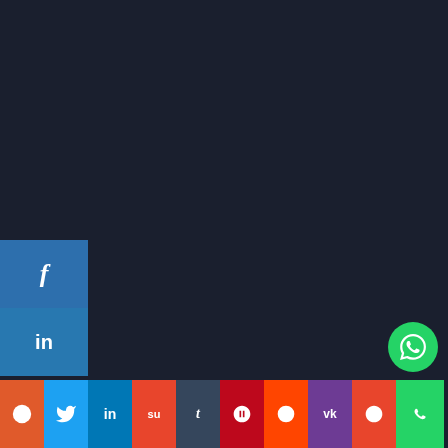[Figure (screenshot): Facebook share button sidebar (blue)]
[Figure (screenshot): LinkedIn share button sidebar (dark blue)]
Most Viewed Posts
October 11, 2017
Trump discusses options as U.S flies bombers over Korea.
March 16, 2018
Illegal registration centre in Kwara uncovers– INEC
[Figure (screenshot): Social share bar at bottom with icons: chat, twitter, linkedin, stumbleupon, tumblr, pinterest, reddit, vk, pocket, whatsapp]